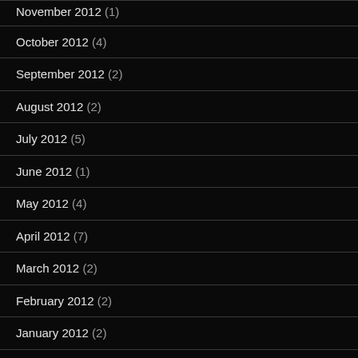November 2012 (1)
October 2012 (4)
September 2012 (2)
August 2012 (2)
July 2012 (5)
June 2012 (1)
May 2012 (4)
April 2012 (7)
March 2012 (2)
February 2012 (2)
January 2012 (2)
December 2011 (1)
November 2011 (2)